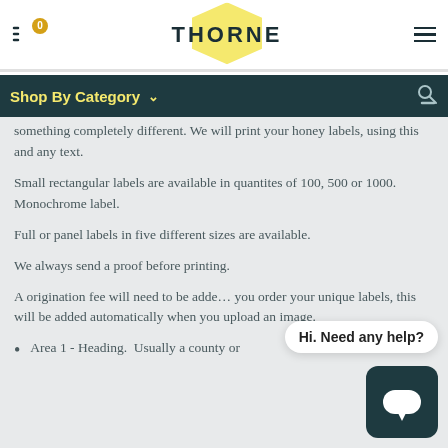THORNE
Shop By Category
something completely different. We will print your honey labels, using this and any text.
Small rectangular labels are available in quantites of 100, 500 or 1000. Monochrome label.
Full or panel labels in five different sizes are available.
We always send a proof before printing.
A origination fee will need to be added. you order your unique labels, this will be added automatically when you upload an image.
Area 1 - Heading. Usually a county or